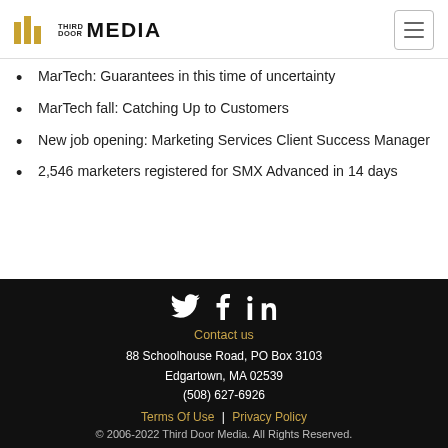Third Door Media
MarTech: Guarantees in this time of uncertainty
MarTech fall: Catching Up to Customers
New job opening: Marketing Services Client Success Manager
2,546 marketers registered for SMX Advanced in 14 days
Contact us
88 Schoolhouse Road, PO Box 3103
Edgartown, MA 02539
(508) 627-6926
Terms Of Use | Privacy Policy
© 2006-2022 Third Door Media. All Rights Reserved.